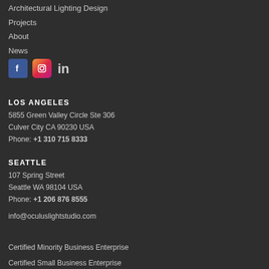Architectural Lighting Design
Projects
About
News
[Figure (illustration): Social media icons: Facebook, Instagram, LinkedIn]
LOS ANGELES
5855 Green Valley Circle Ste 306
Culver City CA 90230 USA
Phone: +1 310 715 8333
SEATTLE
107 Spring Street
Seattle WA 98104 USA
Phone: +1 206 876 8555
info@oculuslightstudio.com
Certified Minority Business Enterprise
Certified Small Business Enterprise